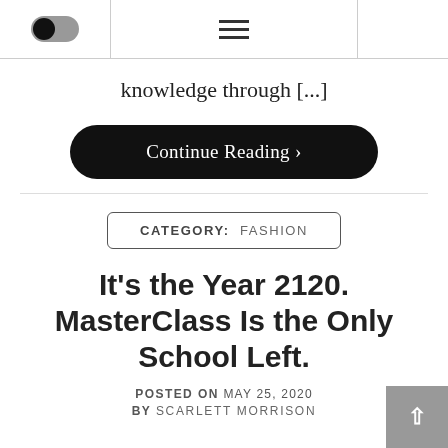[Toggle switch] [Hamburger menu]
knowledge through [...]
Continue Reading >
CATEGORY:  FASHION
It’s the Year 2120. MasterClass Is the Only School Left.
POSTED ON MAY 25, 2020
BY SCARLETT MORRISON